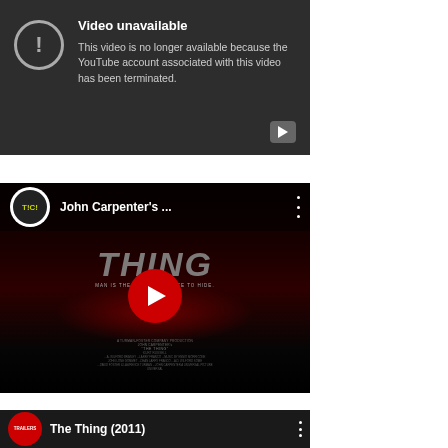[Figure (screenshot): YouTube video unavailable screen: dark background with circle exclamation icon, text 'Video unavailable' and 'This video is no longer available because the YouTube account associated with this video has been terminated.' with small YouTube logo in bottom right.]
[Figure (screenshot): YouTube embedded video player for 'John Carpenter's ...' (The Thing) showing the movie poster/title in dark red background with large THING text, TIC! channel logo, and red YouTube play button in center.]
[Figure (screenshot): Partial YouTube embedded video player showing 'The Thing (2011)' with red circular Trailers logo on left.]